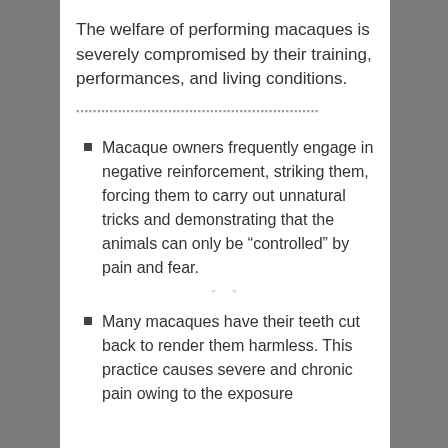The welfare of performing macaques is severely compromised by their training, performances, and living conditions.
Macaque owners frequently engage in negative reinforcement, striking them, forcing them to carry out unnatural tricks and demonstrating that the animals can only be “controlled” by pain and fear.
Many macaques have their teeth cut back to render them harmless. This practice causes severe and chronic pain owing to the exposure